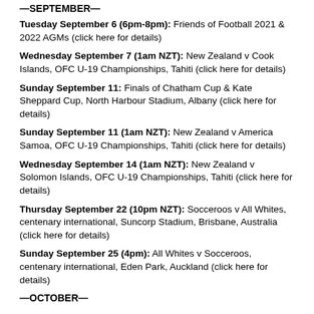—SEPTEMBER—
Tuesday September 6 (6pm-8pm): Friends of Football 2021 & 2022 AGMs (click here for details)
Wednesday September 7 (1am NZT): New Zealand v Cook Islands, OFC U-19 Championships, Tahiti (click here for details)
Sunday September 11: Finals of Chatham Cup & Kate Sheppard Cup, North Harbour Stadium, Albany (click here for details)
Sunday September 11 (1am NZT): New Zealand v America Samoa, OFC U-19 Championships, Tahiti (click here for details)
Wednesday September 14 (1am NZT): New Zealand v Solomon Islands, OFC U-19 Championships, Tahiti (click here for details)
Thursday September 22 (10pm NZT): Socceroos v All Whites, centenary international, Suncorp Stadium, Brisbane, Australia (click here for details)
Sunday September 25 (4pm): All Whites v Socceroos, centenary international, Eden Park, Auckland (click here for details)
—OCTOBER—